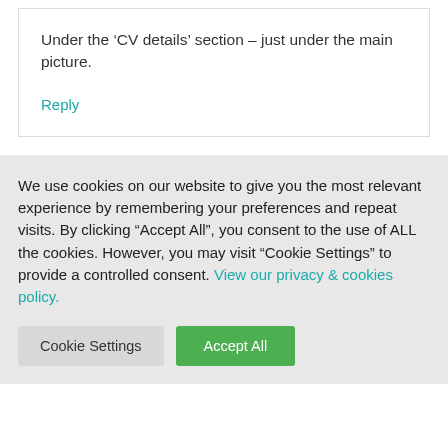Under the ‘CV details’ section – just under the main picture.
Reply
We use cookies on our website to give you the most relevant experience by remembering your preferences and repeat visits. By clicking “Accept All”, you consent to the use of ALL the cookies. However, you may visit "Cookie Settings" to provide a controlled consent. View our privacy & cookies policy.